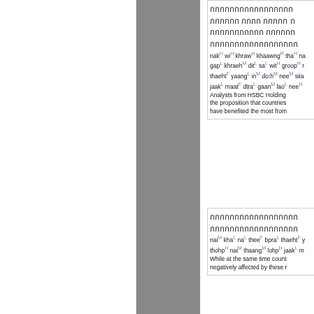Thai text block 1 with romanization: nak^H wi^H khraw^H khaawng^R tha^H... Analysts from HSBC Holdings... the proposition that countries... have benefited the most from...
Thai text block 2 with romanization: nai^M kha^L na^L thee^F bpra^L thaeht^F... thohp^H nai^M thaang^M lohp^H jaak^L... While at the same time count... negatively affected by these...
Thai text block 3 with romanization: dtawng^F mee^M gaan^M seuu^L saan^R... lae^H thaa^F thaang^M baaep^L nai^R...